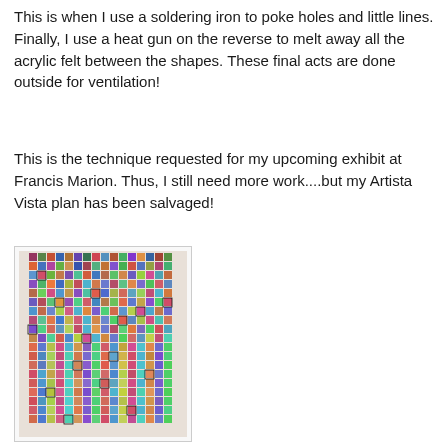This is when I use a soldering iron to poke holes and little lines. Finally, I use a heat gun on the reverse to melt away all the acrylic felt between the shapes. These final acts are done outside for ventilation!
This is the technique requested for my upcoming exhibit at Francis Marion. Thus, I still need more work....but my Artista Vista plan has been salvaged!
[Figure (photo): A tall, narrow textile artwork made of colorful crocheted or felted squares densely arranged in a vertical column, showing many small multicolored patches of fabric stitched together.]